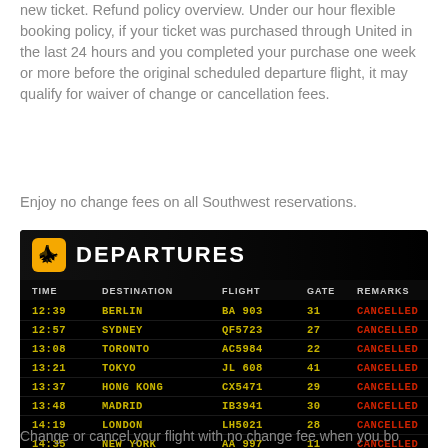new ticket. Refund policy overview. Under our hour flexible booking policy, if your ticket was purchased through United in the last 24 hours and you completed your purchase one week or more before the original scheduled departure flight, it may qualify for waiver of change or cancellation fees.
Enjoy no change fees on all Southwest reservations.
[Figure (table-as-image): Airport departures board showing flights all CANCELLED: 12:39 BERLIN BA 903 31, 12:57 SYDNEY QF5723 27, 13:08 TORONTO AC5984 22, 13:21 TOKYO JL 608 41, 13:37 HONG KONG CX5471 29, 13:48 MADRID IB3941 30, 14:19 LONDON LH5021 28, 14:35 NEW YORK AA 997 11, 14:54 PARIS AF5870 23, 15:10 ROME AZ5324 43]
Change or cancel your flight with no change fee when you bo